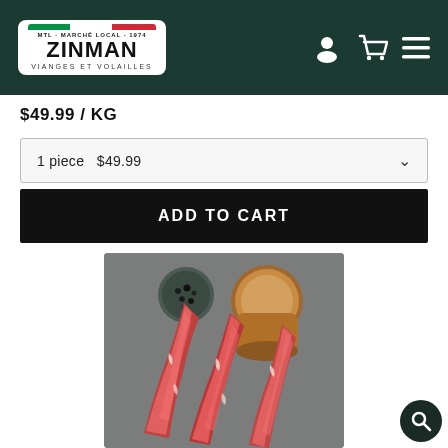[Figure (logo): Zinman Marché Local logo with Italian flag stripe and text VIANGES ET VOLAILLES on white rounded rectangle, on dark green background with user, cart, and menu icons]
$49.99 / KG
1 piece  $49.99
ADD TO CART
[Figure (photo): Overhead photo of three strips of raw marinated beef/meat on a dark gray surface, with a bowl of black peppercorns and a wooden salt cellar in the upper portion]